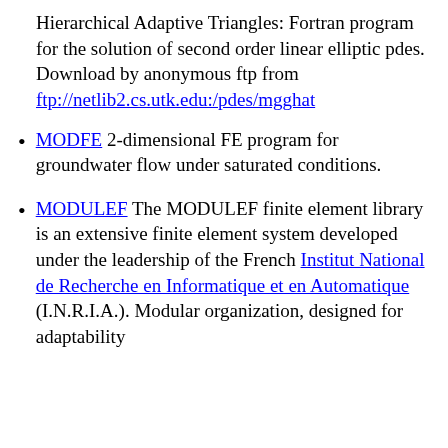Hierarchical Adaptive Triangles: Fortran program for the solution of second order linear elliptic pdes. Download by anonymous ftp from ftp://netlib2.cs.utk.edu:/pdes/mgghat
MODFE 2-dimensional FE program for groundwater flow under saturated conditions.
MODULEF The MODULEF finite element library is an extensive finite element system developed under the leadership of the French Institut National de Recherche en Informatique et en Automatique (I.N.R.I.A.). Modular organization, designed for adaptability